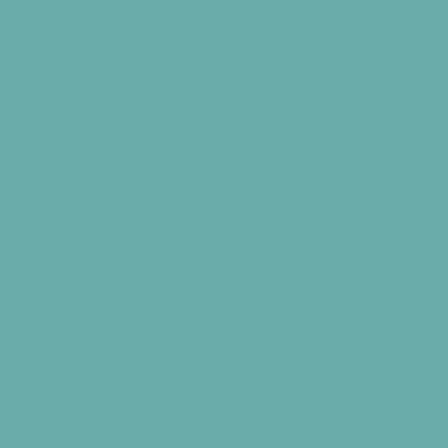[Figure (illustration): Partial illustration of a cartoon child/character sitting, cropped at top of page]
<center><a href="http://redheadmom.com/"><img src="https://1493592 01.v2.pressblob.c…
[Figure (infographic): Three badge images in a row: 'I Disclose - DisclosurePolicy.org' (blue badge), 'PR OK all pitches welcome' (green badge), and 'Ethical Blogger' (orange/white logo)]
Follow me on Twitter